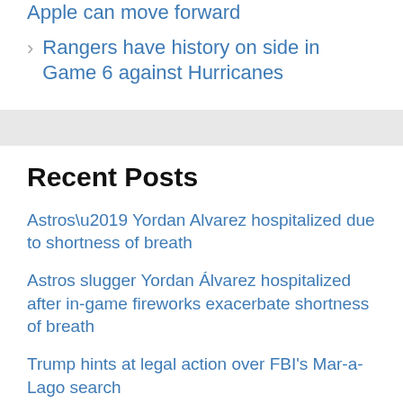Apple can move forward
Rangers have history on side in Game 6 against Hurricanes
Recent Posts
Astros’ Yordan Alvarez hospitalized due to shortness of breath
Astros slugger Yordan Álvarez hospitalized after in-game fireworks exacerbate shortness of breath
Trump hints at legal action over FBI’s Mar-a-Lago search
Blackpink Pink Venom: 82.2 Million YouTube